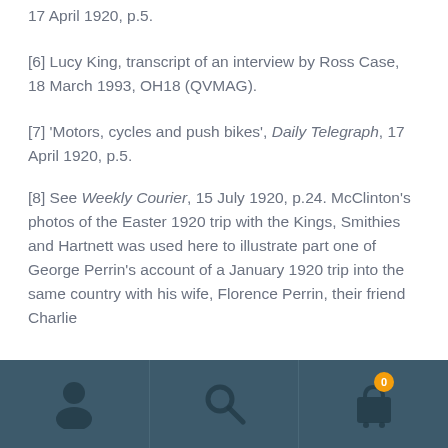17 April 1920, p.5.
[6] Lucy King, transcript of an interview by Ross Case, 18 March 1993, OH18 (QVMAG).
[7] 'Motors, cycles and push bikes', Daily Telegraph, 17 April 1920, p.5.
[8] See Weekly Courier, 15 July 1920, p.24. McClinton's photos of the Easter 1920 trip with the Kings, Smithies and Hartnett was used here to illustrate part one of George Perrin's account of a January 1920 trip into the same country with his wife, Florence Perrin, their friend Charlie